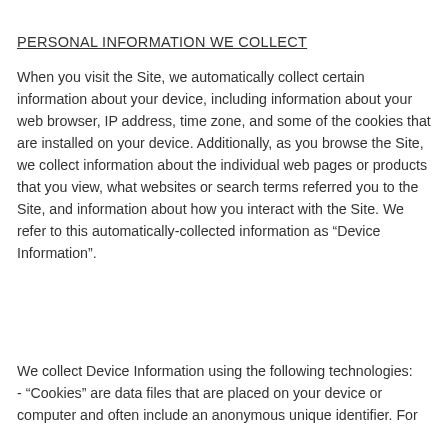PERSONAL INFORMATION WE COLLECT
When you visit the Site, we automatically collect certain information about your device, including information about your web browser, IP address, time zone, and some of the cookies that are installed on your device. Additionally, as you browse the Site, we collect information about the individual web pages or products that you view, what websites or search terms referred you to the Site, and information about how you interact with the Site. We refer to this automatically-collected information as “Device Information”.
We collect Device Information using the following technologies:
- “Cookies” are data files that are placed on your device or computer and often include an anonymous unique identifier. For